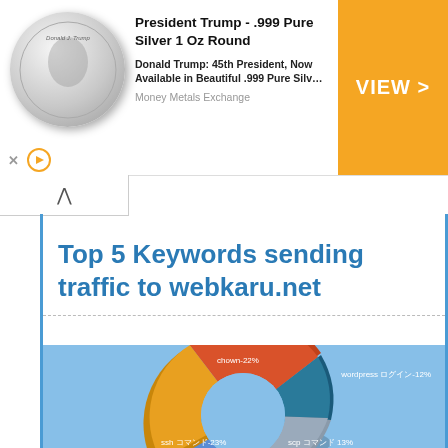[Figure (other): Advertisement banner for Donald Trump .999 Pure Silver 1 Oz Round coin priced at $23.95, with VIEW button, from Money Metals Exchange]
Top 5 Keywords sending traffic to webkaru.net
[Figure (donut-chart): Top 5 Keywords sending traffic to webkaru.net]